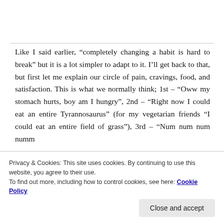Like I said earlier, “completely changing a habit is hard to break” but it is a lot simpler to adapt to it. I’ll get back to that, but first let me explain our circle of pain, cravings, food, and satisfaction. This is what we normally think; 1st – “Oww my stomach hurts, boy am I hungry”, 2nd – “Right now I could eat an entire Tyrannosaurus” (for my vegetarian friends “I could eat an entire field of grass”), 3rd – “Num num num numm
Privacy & Cookies: This site uses cookies. By continuing to use this website, you agree to their use.
To find out more, including how to control cookies, see here: Cookie Policy